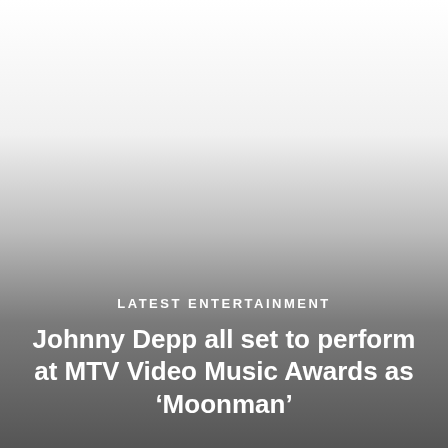[Figure (photo): A grayscale image with gradient overlay fading from white at the top to dark gray at the bottom, serving as the background for an entertainment news card.]
LATEST ENTERTAINMENT
Johnny Depp all set to perform at MTV Video Music Awards as ‘Moonman’